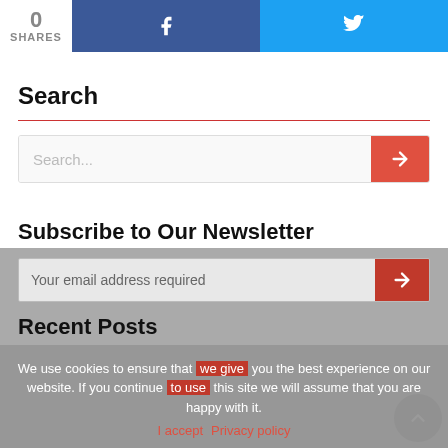[Figure (infographic): Social share bar showing 0 SHARES with Facebook (dark blue) and Twitter (light blue) buttons with icons]
Search
[Figure (infographic): Search input box with placeholder 'Search...' and a red arrow submit button]
Subscribe to Our Newsletter
[Figure (infographic): Email subscription input field with 'Your email address required' placeholder and a red submit button with > symbol]
Recent Posts
We use cookies to ensure that we give you the best experience on our website. If you continue to use this site we will assume that you are happy with it.
I accept   Privacy policy